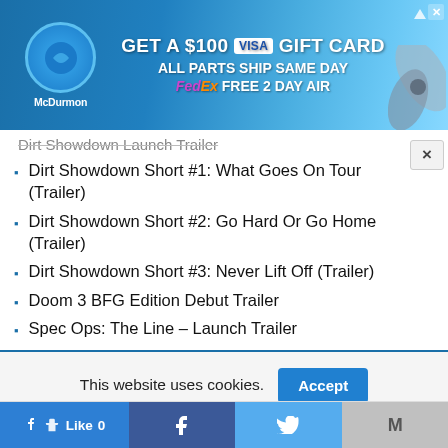[Figure (other): McDurmon advertisement banner: GET A $100 VISA GIFT CARD, ALL PARTS SHIP SAME DAY, FedEx FREE 2 DAY AIR]
Dirt Showdown Short #1: What Goes On Tour (Trailer)
Dirt Showdown Short #2: Go Hard Or Go Home (Trailer)
Dirt Showdown Short #3: Never Lift Off (Trailer)
Doom 3 BFG Edition Debut Trailer
Spec Ops: The Line – Launch Trailer
This website uses cookies.
Like 0 | Facebook | Twitter | Gmail